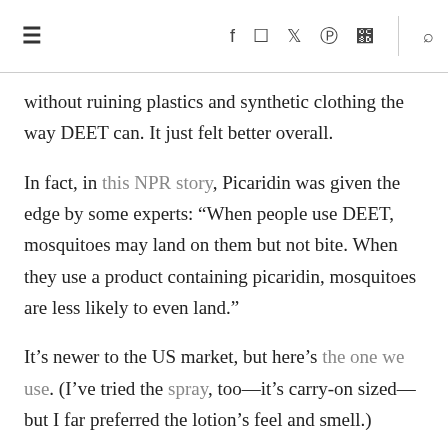≡  f  [instagram]  [twitter]  [pinterest]  [rss]  |  [search]
without ruining plastics and synthetic clothing the way DEET can. It just felt better overall.
In fact, in this NPR story, Picaridin was given the edge by some experts: “When people use DEET, mosquitoes may land on them but not bite. When they use a product containing picaridin, mosquitoes are less likely to even land.”
It’s newer to the US market, but here’s the one we use. (I’ve tried the spray, too—it’s carry-on sized—but I far preferred the lotion’s feel and smell.)
Are there any special products like this that are the